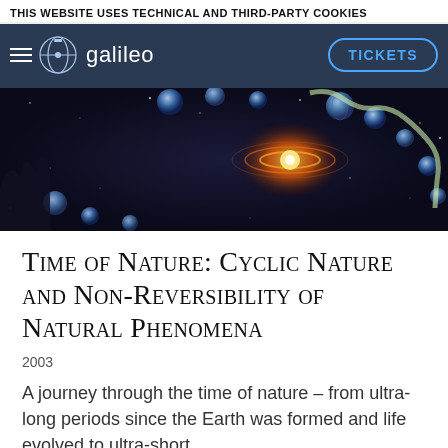THIS WEBSITE USES TECHNICAL AND THIRD-PARTY COOKIES
[Figure (logo): Museo Galileo navigation bar with telescope icon logo and TICKETS button]
[Figure (illustration): Space scene with spherical Earth-like planets arranged in a chain, a glowing galaxy/spiral nebula in the center, dark cosmic background with stars and botanical elements]
Time of Nature: Cyclic Nature and Non-Reversibility of Natural Phenomena
2003
A journey through the time of nature – from ultra-long periods since the Earth was formed and life evolved to ultra-short